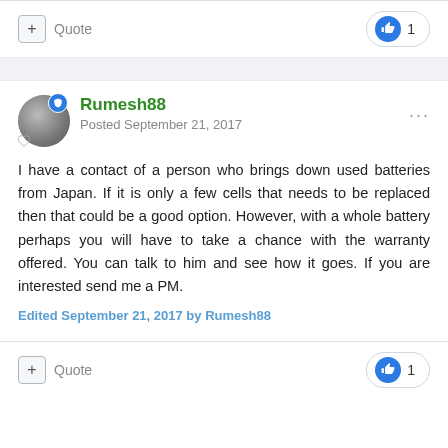+ Quote
1
Rumesh88
Posted September 21, 2017
I have a contact of a person who brings down used batteries from Japan. If it is only a few cells that needs to be replaced then that could be a good option. However, with a whole battery perhaps you will have to take a chance with the warranty offered. You can talk to him and see how it goes. If you are interested send me a PM.
Edited September 21, 2017 by Rumesh88
+ Quote
1